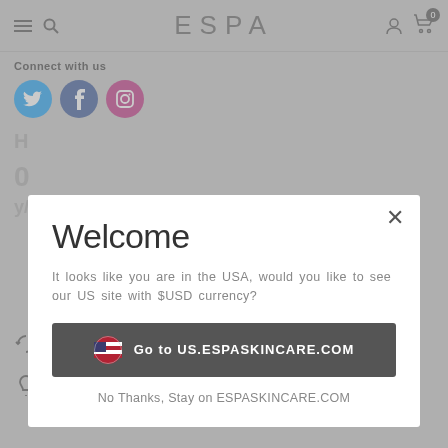ESPA
Connect with us
[Figure (screenshot): Social media icons: Twitter (blue bird), Facebook (blue f), Instagram (pink camera)]
Welcome
It looks like you are in the USA, would you like to see our US site with $USD currency?
Go to US.ESPASKINCARE.COM
No Thanks, Stay on ESPASKINCARE.COM
Return Policy
Help Centre